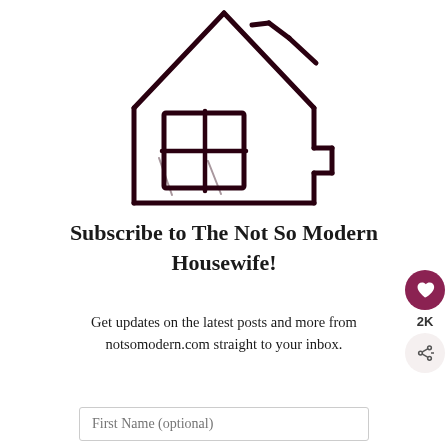[Figure (logo): House outline logo with window grid, drawn in dark maroon/brown lines on white background]
Subscribe to The Not So Modern Housewife!
Get updates on the latest posts and more from notsomodern.com straight to your inbox.